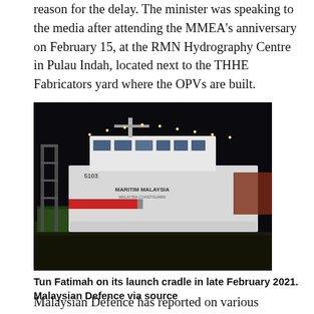reason for the delay. The minister was speaking to the media after attending the MMEA's anniversary on February 15, at the RMN Hydrography Centre in Pulau Indah, located next to the THHE Fabricators yard where the OPVs are built.
[Figure (photo): Night photograph of the Tun Fatimah OPV (Offshore Patrol Vessel) on its launch cradle at the THHE Fabricators yard. The vessel is illuminated with lights along its upper structure. The side of the hull shows 'MARITIM MALAYSIA / MALAYSIA COASTGUARD' text. A tall gantry/scaffold structure is visible to the left, and a green building is visible at the base. The foreground shows a gravel or grass area.]
Tun Fatimah on its launch cradle in late February 2021. Malaysian Defence via source
Malaysian Defence has reported on various occasions